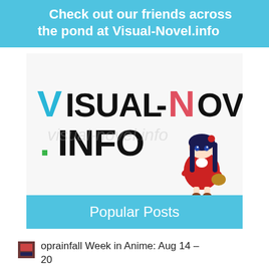Check out our friends across the pond at Visual-Novel.info
[Figure (logo): Visual-Novel.info logo with anime chibi character. Text reads 'Visual-Novel' in black handwritten style with 'V' in cyan and 'N' in red, and '.INFO' below with green dot. Anime girl character in red dress with dark blue hair on the right side.]
Popular Posts
oprainfall Week in Anime: Aug 14 – 20